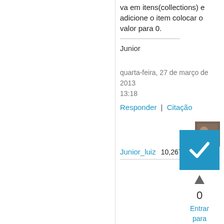va em itens(collections) e adicione o item colocar o valor para 0.
Junior
quarta-feira, 27 de março de 2013 13:18
Responder | Citação
Junior_luiz   10,267 Pontos
[Figure (other): Blue checkbox/checkmark icon]
0
Entrar para Votar